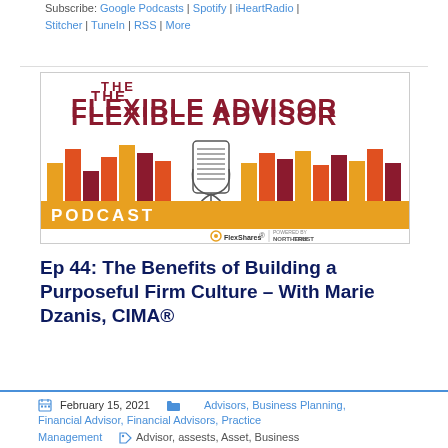Subscribe: Google Podcasts | Spotify | iHeartRadio | Stitcher | TuneIn | RSS | More
[Figure (illustration): The Flexible Advisor Podcast logo image with colorful bar chart bars in yellow, orange, and red/maroon colors and a microphone icon in the center. Powered by FlexShares and Northern Trust.]
Ep 44: The Benefits of Building a Purposeful Firm Culture – With Marie Dzanis, CIMA®
February 15, 2021   Advisors, Business Planning, Financial Advisor, Financial Advisors, Practice Management,   Advisor, assests, Asset, Business